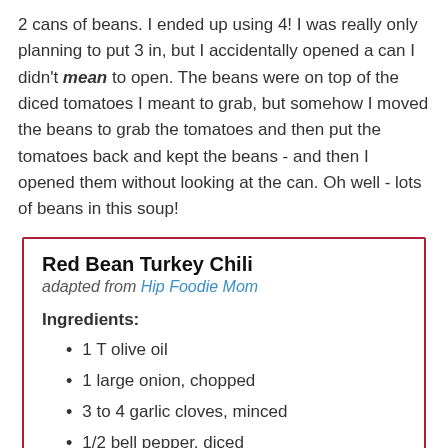2 cans of beans.  I ended up using 4!  I was really only planning to put 3 in, but I accidentally opened a can I didn't mean to open.  The beans were on top of the diced tomatoes I meant to grab, but somehow I moved the beans to grab the tomatoes and then put the tomatoes back and kept the beans - and then I opened them without looking at the can.  Oh well - lots of beans in this soup!
Red Bean Turkey Chili
adapted from Hip Foodie Mom
Ingredients:
1 T olive oil
1 large onion, chopped
3 to 4 garlic cloves, minced
1/2 bell pepper, diced
1 T cumin
1 T dried oregano
2 T chili powder